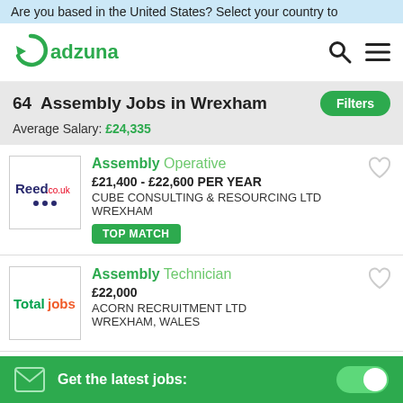Are you based in the United States? Select your country to
[Figure (logo): Adzuna logo - green circular arrow icon with 'adzuna' text in green]
64  Assembly Jobs in Wrexham
Average Salary: £24,335
Assembly Operative
£21,400 - £22,600 PER YEAR
CUBE CONSULTING & RESOURCING LTD
WREXHAM
TOP MATCH
Assembly Technician
£22,000
ACORN RECRUITMENT LTD
WREXHAM, WALES
Get the latest jobs: